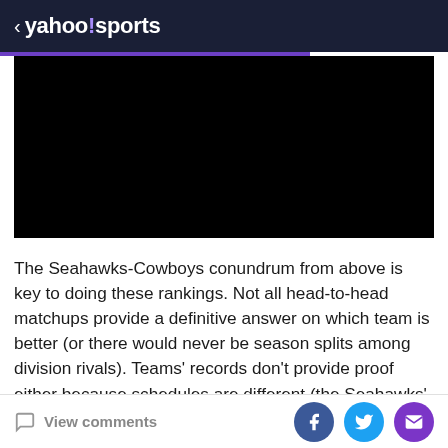< yahoo!sports
[Figure (other): Black video player block embedded in article]
The Seahawks-Cowboys conundrum from above is key to doing these rankings. Not all head-to-head matchups provide a definitive answer on which team is better (or there would never be season splits among division rivals). Teams' records don't provide proof either because schedules are different (the Seahawks' schedule has been ranked harder far).  When there are no
View comments